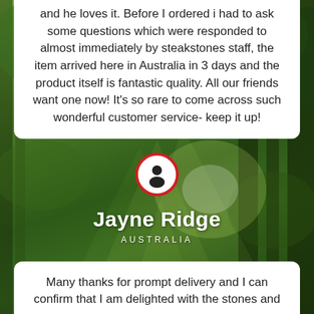and he loves it. Before I ordered i had to ask some questions which were responded to almost immediately by steakstones staff, the item arrived here in Australia in 3 days and the product itself is fantastic quality. All our friends want one now! It's so rare to come across such wonderful customer service- keep it up!
[Figure (photo): Forest background with sunlight filtering through green bamboo/trees, with a circular avatar icon (person silhouette) with red border in the center]
Jayne Ridge
AUSTRALIA
Many thanks for prompt delivery and I can confirm that I am delighted with the stones and